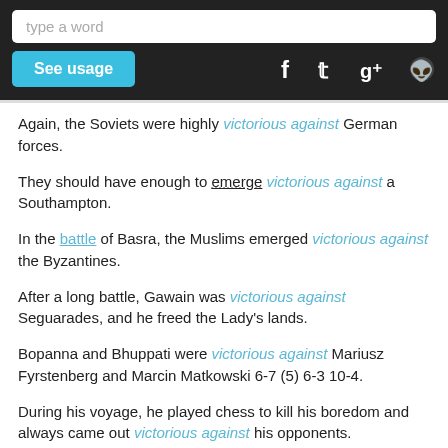[Figure (screenshot): Web app UI: dark top bar with a search input ('type a word'), a 'See usage' button in cyan, and social icons (Facebook, Twitter, Google+, Reddit) on the right.]
Again, the Soviets were highly victorious against German forces.
They should have enough to emerge victorious against a Southampton.
In the battle of Basra, the Muslims emerged victorious against the Byzantines.
After a long battle, Gawain was victorious against Seguarades, and he freed the Lady's lands.
Bopanna and Bhuppati were victorious against Mariusz Fyrstenberg and Marcin Matkowski 6-7 (5) 6-3 10-4.
During his voyage, he played chess to kill his boredom and always came out victorious against his opponents.